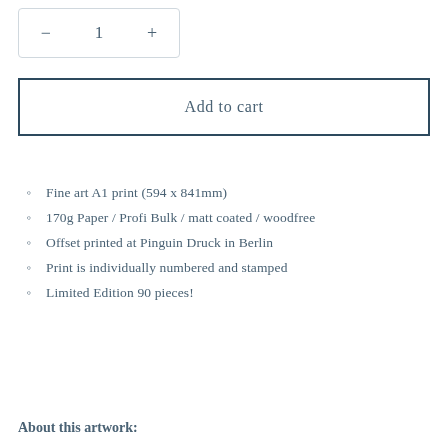[Figure (other): Quantity selector widget showing minus button, number 1, and plus button inside a rounded rectangle border]
Add to cart
Fine art A1 print (594 x 841mm)
170g Paper / Profi Bulk / matt coated / woodfree
Offset printed at Pinguin Druck in Berlin
Print is individually numbered and stamped
Limited Edition 90 pieces!
About this artwork: